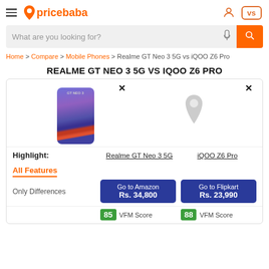pricebaba — header with hamburger menu, logo, user icon, VS button
What are you looking for? [search bar]
Home > Compare > Mobile Phones > Realme GT Neo 3 5G vs iQOO Z6 Pro
REALME GT NEO 3 5G VS IQOO Z6 PRO
[Figure (photo): Realme GT Neo 3 5G phone image on left, placeholder pin icon for iQOO Z6 Pro on right, with close X buttons]
Highlight: | Realme GT Neo 3 5G | iQOO Z6 Pro
All Features
Only Differences | Go to Amazon Rs. 34,800 | Go to Flipkart Rs. 23,990
85 VFM Score | 88 VFM Score